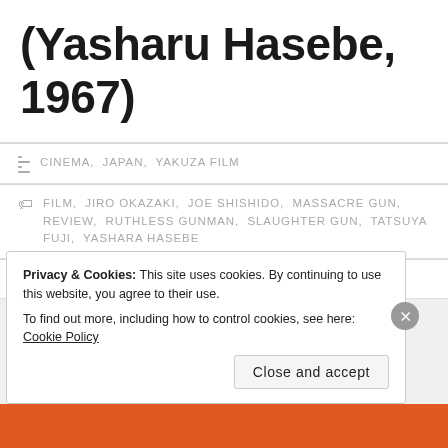(Yasharu Hasebe, 1967)
CINEMA, JAPAN, YAKUZA FILM
FILM, JIRO OKAZAKI, JOE SHISHIDO, MASSACRE GUN, REVIEW, RUTHLESS GUNMAN, SLAUGHTER GUN, TATSUYA FUJI, YASHARA HASEBE
1 COMMENT
Privacy & Cookies: This site uses cookies. By continuing to use this website, you agree to their use. To find out more, including how to control cookies, see here: Cookie Policy
Close and accept